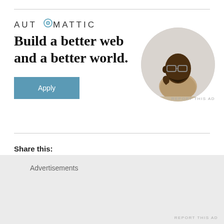[Figure (logo): Automattic logo with stylized O containing a blue circle/target icon, uppercase spaced letters]
Build a better web and a better world.
[Figure (illustration): Circular cropped photo of a Black man wearing glasses and a beige t-shirt, resting chin on hand thoughtfully]
REPORT THIS AD
Share this:
Twitter
Facebook
Advertisements
REPORT THIS AD